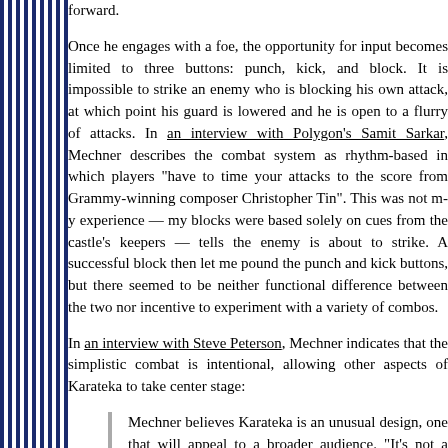forward.
Once he engages with a foe, the opportunity for input becomes limited to three buttons: punch, kick, and block. It is impossible to strike an enemy who is blocking his own attack, at which point his guard is lowered and he is open to a flurry of attacks. In an interview with Polygon's Samit Sarkar, Mechner describes the combat system as rhythm-based in which players "have to time your attacks to the score from Grammy-winning composer Christopher Tin". This was not my experience — my blocks were based solely on cues from the castle's keepers — tells the enemy is about to strike. A successful block then let me pound the punch and kick buttons, but there seemed to be neither functional difference between the two nor incentive to experiment with a variety of combos.
In an interview with Steve Peterson, Mechner indicates that the simplistic combat is intentional, allowing other aspects of Karateka to take center stage:
Mechner believes Karateka is an unusual design, one that will appeal to a broader audience. "It's not a fighting game in the sense of trying to rack up points, or fighting for fighting's sake. It's fighting in order to get a happy ending in the story, and it's a love story. I think we're appealing to a slightly different audience than most fighting games," he says.
I can appreciate Jordan Mechner, as someone whose ambition has always been to write Hollywood scripts, wanting to focus on that aspect of Karateka. Storytelling has become an increasingly important part of both big-budget and indie games, with titles such as Braid, Portal, and even the BIT.TRIP series having set new m